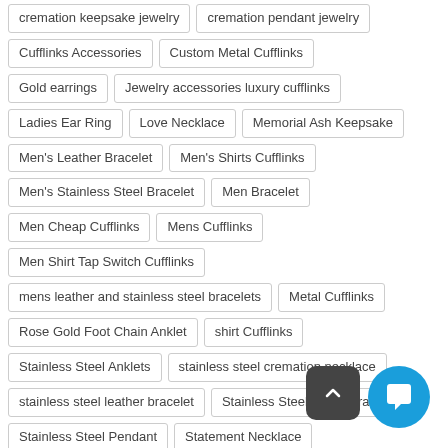cremation keepsake jewelry
cremation pendant jewelry
Cufflinks Accessories
Custom Metal Cufflinks
Gold earrings
Jewelry accessories luxury cufflinks
Ladies Ear Ring
Love Necklace
Memorial Ash Keepsake
Men's Leather Bracelet
Men's Shirts Cufflinks
Men's Stainless Steel Bracelet
Men Bracelet
Men Cheap Cufflinks
Mens Cufflinks
Men Shirt Tap Switch Cufflinks
mens leather and stainless steel bracelets
Metal Cufflinks
Rose Gold Foot Chain Anklet
shirt Cufflinks
Stainless Steel Anklets
stainless steel cremation necklace
stainless steel leather bracelet
Stainless Steel Men's Bracelet
Stainless Steel Pendant
Statement Necklace
Stud Earrings For Women
Stud Ladies Earrings